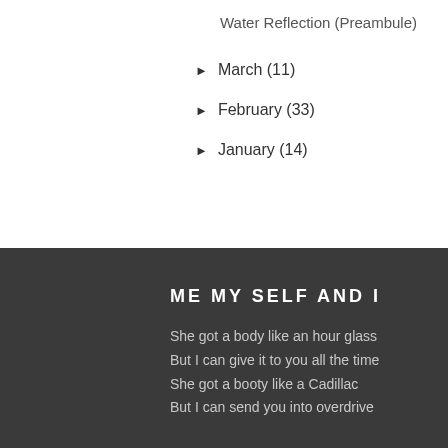Water Reflection (Preambule)
► March (11)
► February (33)
► January (14)
ME MY SELF AND I
She got a body like an hour glass
But I can give it to you all the time
She got a booty like a Cadillac
But I can send you into overdrive